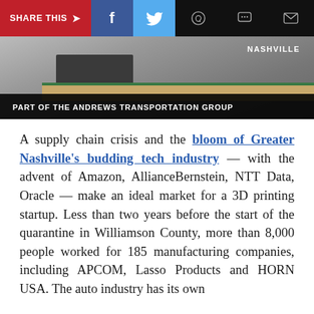SHARE THIS → f (Facebook) (Twitter) (WhatsApp) (Chat) (Email)
[Figure (photo): Photo with overlay text: NASHVILLE and caption bar reading PART OF THE ANDREWS TRANSPORTATION GROUP]
A supply chain crisis and the bloom of Greater Nashville's budding tech industry — with the advent of Amazon, AllianceBernstein, NTT Data, Oracle — make an ideal market for a 3D printing startup. Less than two years before the start of the quarantine in Williamson County, more than 8,000 people worked for 185 manufacturing companies, including APCOM, Lasso Products and HORN USA. The auto industry has its own